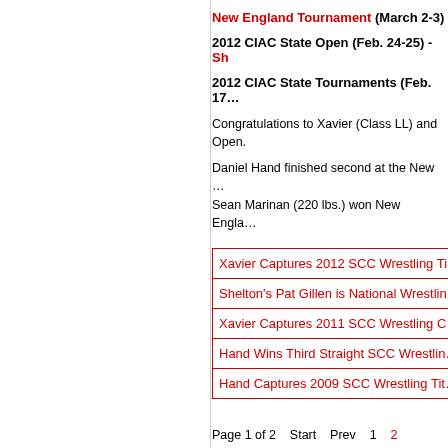New England Tournament (March 2-3)
2012 CIAC State Open (Feb. 24-25) - Sh…
2012 CIAC State Tournaments (Feb. 17…
Congratulations to Xavier (Class LL) and … Open.
Daniel Hand finished second at the New … Sean Marinan (220 lbs.) won New Engla…
Xavier Captures 2012 SCC Wrestling Ti…
Shelton's Pat Gillen is National Wrestlin…
Xavier Captures 2011 SCC Wrestling C…
Hand Wins Third Straight SCC Wrestlin…
Hand Captures 2009 SCC Wrestling Tit…
Page 1 of 2    Start    Prev    1    2